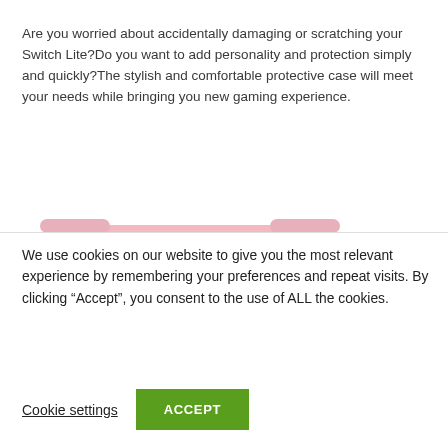Are you worried about accidentally damaging or scratching your Switch Lite?Do you want to add personality and protection simply and quickly?The stylish and comfortable protective case will meet your needs while bringing you new gaming experience.
[Figure (photo): Pink Nintendo Switch Lite handheld gaming console with protective case, showing the front view with screen, buttons, joysticks, and d-pad]
We use cookies on our website to give you the most relevant experience by remembering your preferences and repeat visits. By clicking “Accept”, you consent to the use of ALL the cookies.
Cookie settings
ACCEPT